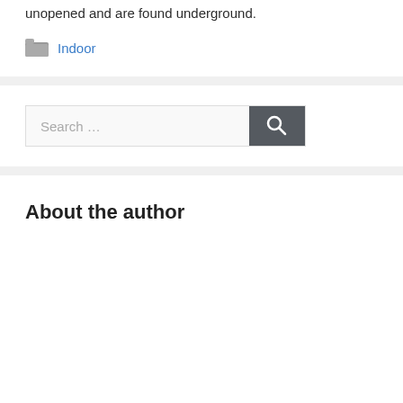unopened and are found underground.
Indoor
[Figure (screenshot): Search bar with text input field showing placeholder 'Search ...' and a dark gray search button with magnifying glass icon]
About the author